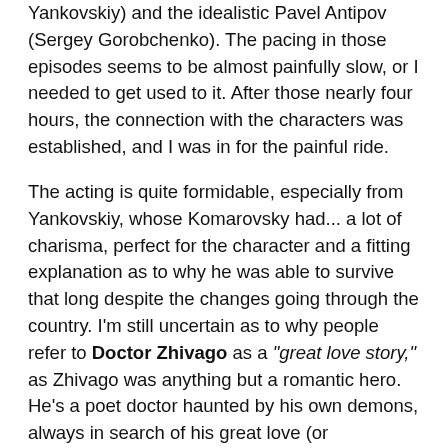Yankovskiy) and the idealistic Pavel Antipov (Sergey Gorobchenko). The pacing in those episodes seems to be almost painfully slow, or I needed to get used to it. After those nearly four hours, the connection with the characters was established, and I was in for the painful ride.
The acting is quite formidable, especially from Yankovskiy, whose Komarovsky had... a lot of charisma, perfect for the character and a fitting explanation as to why he was able to survive that long despite the changes going through the country. I'm still uncertain as to why people refer to Doctor Zhivago as a "great love story," as Zhivago was anything but a romantic hero. He's a poet doctor haunted by his own demons, always in search of his great love (or adventure)... when he's with his wife Tonya (Varvara Andreeva), his greatest love is Lara and when he's with